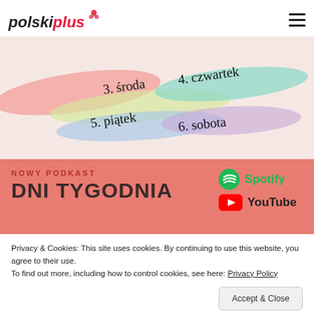polski plus
[Figure (illustration): Colorful brushstroke background with handwritten Polish day names: '3. środa', '4. czwartek', '5. piątek', '6. sobota']
NOWY PODKAST
DNI TYGODNIA
[Figure (logo): Spotify logo with green circle and white sound waves icon, followed by text 'Spotify' in green]
[Figure (logo): YouTube logo with red rectangle and white play button, followed by text 'YouTube' in black]
Privacy & Cookies: This site uses cookies. By continuing to use this website, you agree to their use.
To find out more, including how to control cookies, see here: Privacy Policy
Accept & Close